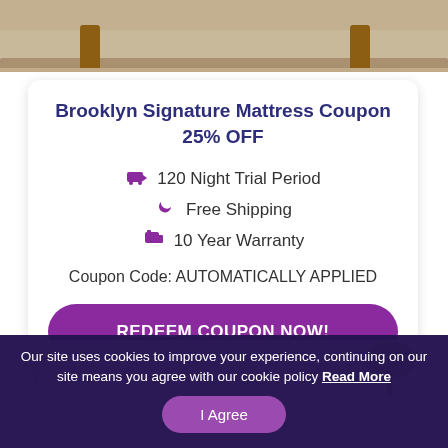[Figure (photo): Top portion of a mattress/bed frame with wooden legs on a neutral carpet background]
Brooklyn Signature Mattress Coupon
25% OFF
120 Night Trial Period
Free Shipping
10 Year Warranty
Coupon Code: AUTOMATICALLY APPLIED
REDEEM COUPON NOW!
[Figure (photo): Bottom portion showing a bright room interior with a plant]
Our site uses cookies to improve your experience, continuing on our site means you agree with our cookie policy Read More
I Agree